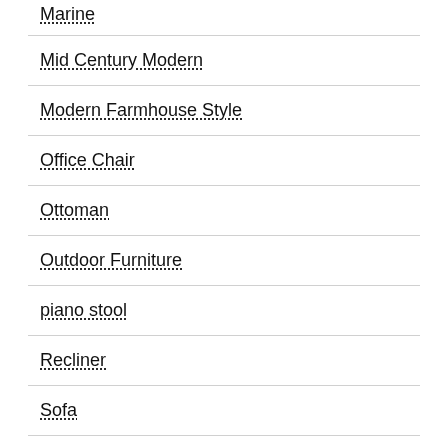Marine
Mid Century Modern
Modern Farmhouse Style
Office Chair
Ottoman
Outdoor Furniture
piano stool
Recliner
Sofa
Tub Chairs